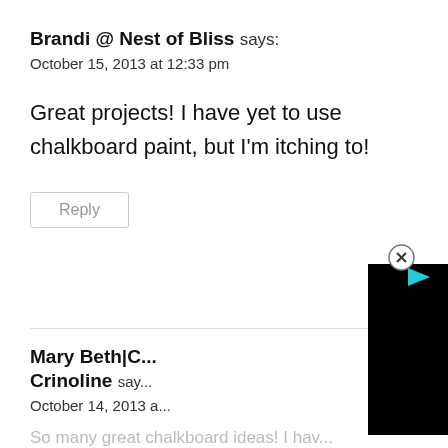Brandi @ Nest of Bliss says:
October 15, 2013 at 12:33 pm
Great projects! I have yet to use chalkboard paint, but I'm itching to!
Reply
[Figure (screenshot): A black video player overlay with a close (x) button and a play button icon in the upper right corner]
Mary Beth|C... Crinoline says:
October 14, 2013 a...
So many great chalkboard ideas! I hav...